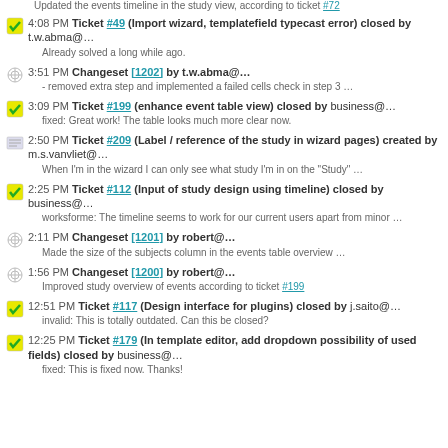4:08 PM Ticket #49 (Import wizard, templatefield typecast error) closed by t.w.abma@… Already solved a long while ago.
3:51 PM Changeset [1202] by t.w.abma@… - removed extra step and implemented a failed cells check in step 3 …
3:09 PM Ticket #199 (enhance event table view) closed by business@… fixed: Great work! The table looks much more clear now.
2:50 PM Ticket #209 (Label / reference of the study in wizard pages) created by m.s.vanvliet@… When I'm in the wizard I can only see what study I'm in on the "Study" …
2:25 PM Ticket #112 (Input of study design using timeline) closed by business@… worksforme: The timeline seems to work for our current users apart from minor …
2:11 PM Changeset [1201] by robert@… Made the size of the subjects column in the events table overview …
1:56 PM Changeset [1200] by robert@… Improved study overview of events according to ticket #199
12:51 PM Ticket #117 (Design interface for plugins) closed by j.saito@… invalid: This is totally outdated. Can this be closed?
12:25 PM Ticket #179 (In template editor, add dropdown possibility of used fields) closed by business@… fixed: This is fixed now. Thanks!